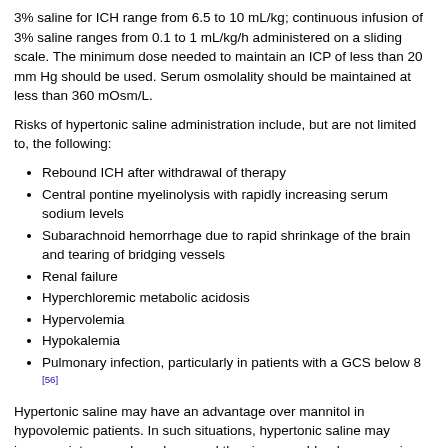3% saline for ICH range from 6.5 to 10 mL/kg; continuous infusion of 3% saline ranges from 0.1 to 1 mL/kg/h administered on a sliding scale. The minimum dose needed to maintain an ICP of less than 20 mm Hg should be used. Serum osmolality should be maintained at less than 360 mOsm/L.
Risks of hypertonic saline administration include, but are not limited to, the following:
Rebound ICH after withdrawal of therapy
Central pontine myelinolysis with rapidly increasing serum sodium levels
Subarachnoid hemorrhage due to rapid shrinkage of the brain and tearing of bridging vessels
Renal failure
Hyperchloremic metabolic acidosis
Hypervolemia
Hypokalemia
Pulmonary infection, particularly in patients with a GCS below 8 [56]
Hypertonic saline may have an advantage over mannitol in hypovolemic patients. In such situations, hypertonic saline may increase intravascular volume and thus increase blood pressure in addition to decreasing ICP. However, mannitol has long been successfully used to treat ICH, especially following TBI in adults. Mannitol is an osmolar agent with a rapid onset of action via two distinct mechanisms.
The initial effects of mannitol result from a reduction of blood viscosity and a reflex decrease in vessel diameter to maintain cerebral blood flow through autoregulation. This decrease in vessel diameter contributes to decreasing total cerebral blood volume and ICP. Such a mechanism of action is